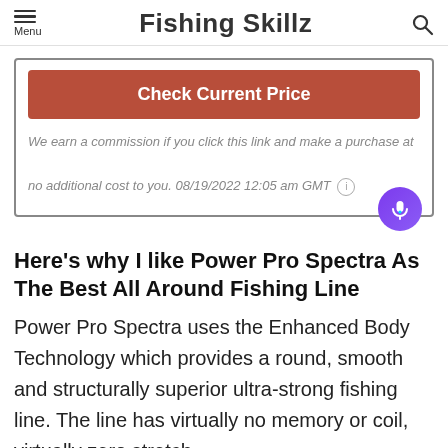Fishing Skillz
Check Current Price
We earn a commission if you click this link and make a purchase at no additional cost to you. 08/19/2022 12:05 am GMT
Here’s why I like Power Pro Spectra As The Best All Around Fishing Line
Power Pro Spectra uses the Enhanced Body Technology which provides a round, smooth and structurally superior ultra-strong fishing line. The line has virtually no memory or coil, virtually zero stretch